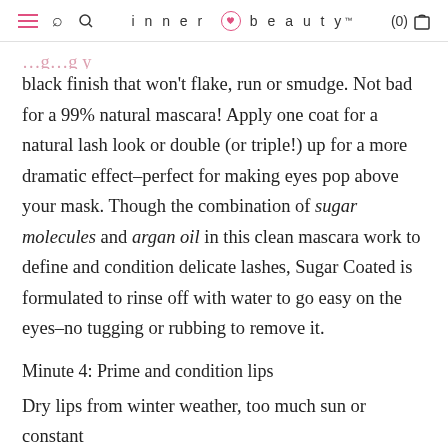inner beauty™  (0)
black finish that won't flake, run or smudge. Not bad for a 99% natural mascara! Apply one coat for a natural lash look or double (or triple!) up for a more dramatic effect–perfect for making eyes pop above your mask. Though the combination of sugar molecules and argan oil in this clean mascara work to define and condition delicate lashes, Sugar Coated is formulated to rinse off with water to go easy on the eyes–no tugging or rubbing to remove it.
Minute 4: Prime and condition lips
Dry lips from winter weather, too much sun or constant